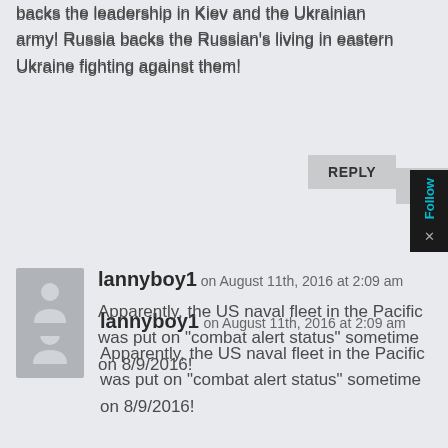backs the leadership in Kiev and the Ukrainian army! Russia backs the Russian's living in eastern Ukraine fighting against them!
lannyboy1 on August 11th, 2016 at 2:09 am
Apparently, the US naval fleet in the Pacific was put on “combat alert status” sometime on 8/9/2016!
lannyboy1 on August 11th, 2016 at 1:30 pm
If reports I’m seeing are true, Russia’s Black Sea Fleet is now conducting “drills” which will last through the 13th of August. US/NATO military “drills” are ongoing in the Black Sea as well. Drills? Yeah, sure, right.